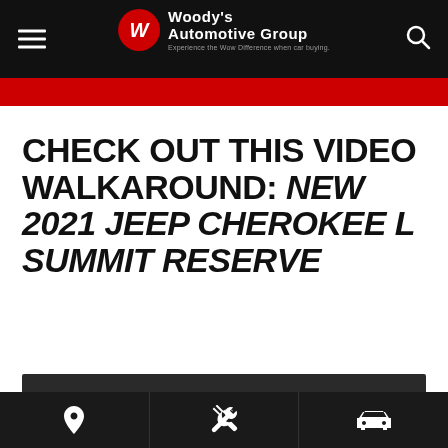Woody's Automotive Group — Experience the Wow Difference when car buying.
CHECK OUT THIS VIDEO WALKAROUND: NEW 2021 JEEP CHEROKEE L SUMMIT RESERVE
[Figure (screenshot): Dark video thumbnail placeholder area]
Bottom navigation bar with location, wrench/service, and car icons